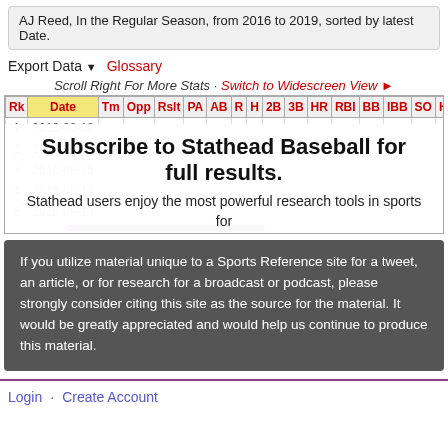AJ Reed, In the Regular Season, from 2016 to 2019, sorted by latest Date.
Export Data ▼   Glossary
Scroll Right For More Stats · Switch to Widescreen View ►
| Rk | Date | Tm | Opp | Rslt | PA | AB | R | H | 2B | 3B | HR | RBI | BB | IBB | SO | HBP |
| --- | --- | --- | --- | --- | --- | --- | --- | --- | --- | --- | --- | --- | --- | --- | --- | --- |
| 1 | 2016-08-18 |  |  |  |  |  |  |  |  |  |  |  |  |  |  |  |
| 2 | 2016-08-17 |  |  |  |  |  |  |  |  |  |  |  |  |  |  |  |
| 3 | 2016-08-16 |  |  |  |  |  |  |  |  |  |  |  |  |  |  |  |
| 4 | 2016-08-14 |  |  |  |  |  |  |  |  |  |  |  |  |  |  |  |
| 5 | 2016-08-13 |  |  |  |  |  |  |  |  |  |  |  |  |  |  |  |
Subscribe to Stathead Baseball for full results. Stathead users enjoy the most powerful research tools in sports for just $8/month. Learn More.
If you utilize material unique to a Sports Reference site for a tweet, an article, or for research for a broadcast or podcast, please strongly consider citing this site as the source for the material. It would be greatly appreciated and would help us continue to produce this material.
Login · Create Account